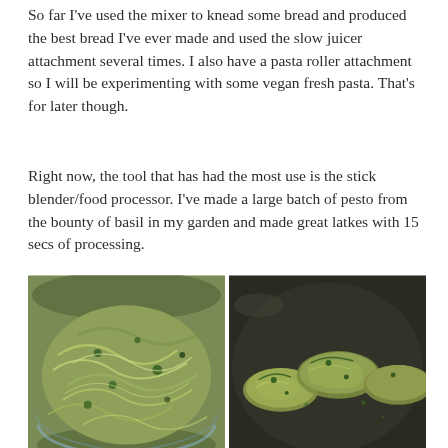So far I've used the mixer to knead some bread and produced the best bread I've ever made and used the slow juicer attachment several times. I also have a pasta roller attachment so I will be experimenting with some vegan fresh pasta. That's for later though.
Right now, the tool that has had the most use is the stick blender/food processor. I've made a large batch of pesto from the bounty of basil in my garden and made great latkes with 15 secs of processing.
[Figure (photo): Two side-by-side photos of latkes: left shows shredded green vegetable mixture in a glass bowl, right shows formed latkes cooking in a dark frying pan.]
On the latkes front I was going to make some for dinner with some kale on the side. Instead I grated up the potato, kale and some spring onions (all from the garden) 🌱 and made an